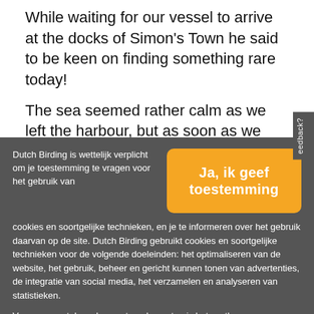While waiting for our vessel to arrive at the docks of Simon's Town he said to be keen on finding something rare today!
The sea seemed rather calm as we left the harbour, but as soon as we rounded Cape Point the ocean swell started to take its toll, which resulted in a fair bit of
Dutch Birding is wettelijk verplicht om je toestemming te vragen voor het gebruik van cookies en soortgelijke technieken, en je te informeren over het gebruik daarvan op de site. Dutch Birding gebruikt cookies en soortgelijke technieken voor de volgende doeleinden: het optimaliseren van de website, het gebruik, beheer en gericht kunnen tonen van advertenties, de integratie van social media, het verzamelen en analyseren van statistieken.
Ja, ik geef toestemming
Voor een aantal van bovenstaande punten is het vastleggen van bezoekersgedrag noodzakelijk. Ook derde partijen kunnen deze cookies plaatsen, zoals bijvoorbeeld het geval is bij embedded video's van YouTube.